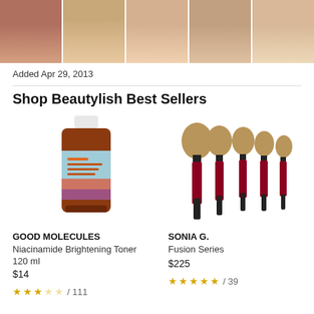[Figure (photo): Strip of cropped celebrity neck/chin photos]
Added Apr 29, 2013
Shop Beautylish Best Sellers
[Figure (photo): Good Molecules Niacinamide Brightening Toner 120ml bottle]
GOOD MOLECULES
Niacinamide Brightening Toner
120 ml
$14
★★★☆☆ / 111
[Figure (photo): Sonia G. Fusion Series makeup brushes set of 5]
SONIA G.
Fusion Series
$225
★★★★★ / 39